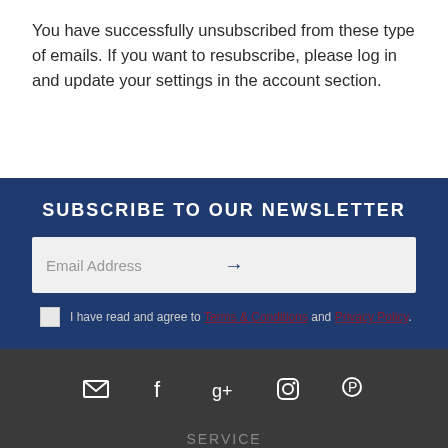You have successfully unsubscribed from these type of emails. If you want to resubscribe, please log in and update your settings in the account section.
SUBSCRIBE TO OUR NEWSLETTER
Email Address
I have read and agree to Terms & Conditions and Privacy Policy.
[Figure (infographic): Social media icons: email, facebook, google+, instagram, pinterest]
SERVICE
My Account
Track Order